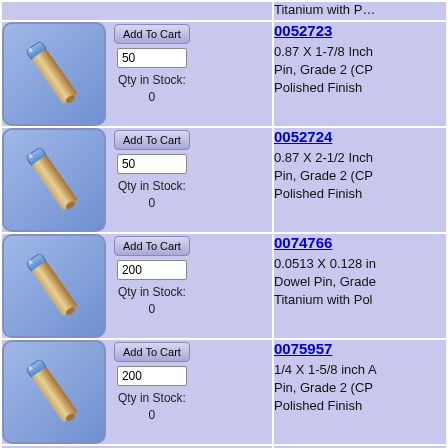| Product Image / Controls | Product Info |
| --- | --- |
| [image] Add To Cart | 50 | Qty in Stock: 0 | 0052723
0.87 X 1-7/8 Inch Pin, Grade 2 (CP Polished Finish |
| [image] Add To Cart | 50 | Qty in Stock: 0 | 0052724
0.87 X 2-1/2 Inch Pin, Grade 2 (CP Polished Finish |
| [image] Add To Cart | 200 | Qty in Stock: 0 | 0074766
0.0513 X 0.128 in Dowel Pin, Grade Titanium with Pol |
| [image] Add To Cart | 200 | Qty in Stock: 0 | 0075957
1/4 X 1-5/8 inch A Pin, Grade 2 (CP Polished Finish |